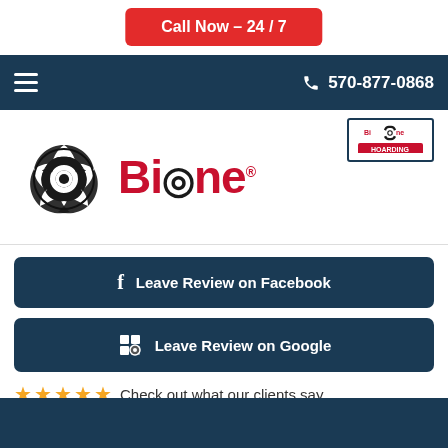Call Now – 24 / 7
☰   570-877-0868
[Figure (logo): Bio-One biohazard cleanup company logo with biohazard symbol and red text]
[Figure (logo): Bio-One Hoarding badge/logo in top right corner]
f  Leave Review on Facebook
Leave Review on Google
★★★★★  Check out what our clients say
[Figure (infographic): Social media icons row: Facebook, YouTube, Google]